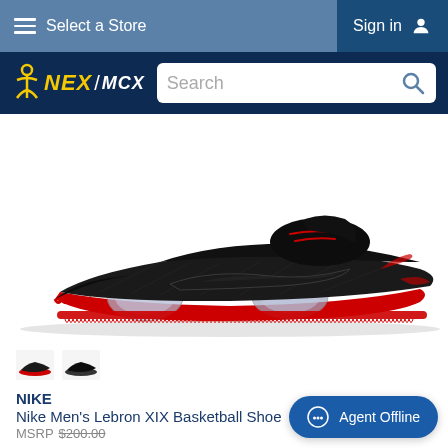Select a Store | Sign in
[Figure (logo): NEX / MCX logo with anchor icon and search bar]
[Figure (photo): Nike Men's Lebron XIX Basketball Shoe - black sneaker with red sole and clear air cushions, side profile view]
[Figure (photo): Two small thumbnail images of the shoe in different color variants]
NIKE
Nike Men's Lebron XIX Basketball Shoe
MSRP $200.00
Agent Offline